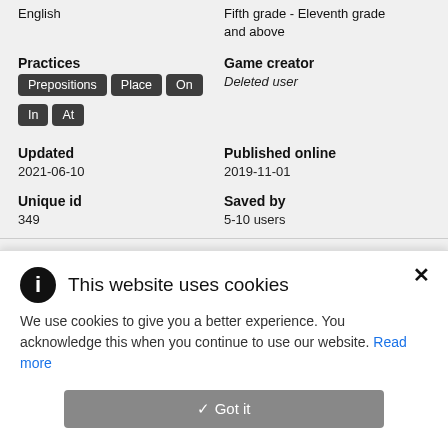English
Fifth grade - Eleventh grade and above
Practices
Prepositions  Place  On  In  At
Game creator
Deleted user
Updated
2021-06-10
Published online
2019-11-01
Unique id
349
Saved by
5-10 users
This website uses cookies
We use cookies to give you a better experience. You acknowledge this when you continue to use our website. Read more
Got it